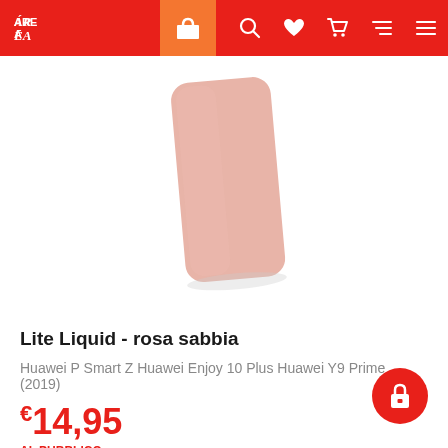AREA - navigation bar with shop, search, wishlist, cart, filter, menu icons
[Figure (photo): Pink/rose sand colored slim phone case (Lite Liquid - rosa sabbia) shown from the back at a slight angle against white background]
Lite Liquid - rosa sabbia
Huawei P Smart Z Huawei Enjoy 10 Plus Huawei Y9 Prime (2019)
€14,95 AL PUBBLICO